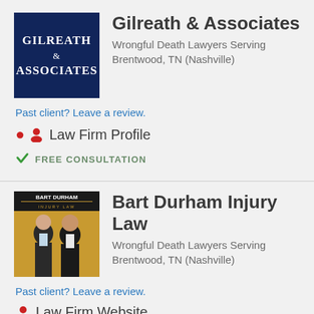[Figure (logo): Gilreath & Associates law firm logo — dark navy blue background with white serif text]
Gilreath & Associates
Wrongful Death Lawyers Serving Brentwood, TN (Nashville)
Past client? Leave a review.
Law Firm Profile
FREE CONSULTATION
[Figure (photo): Bart Durham Injury Law — photo of two men in suits on gold/yellow background with firm name text overlay]
Bart Durham Injury Law
Wrongful Death Lawyers Serving Brentwood, TN (Nashville)
Past client? Leave a review.
Law Firm Website